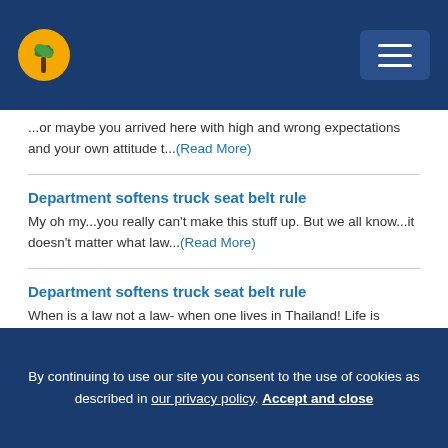Navigation header with logo and hamburger menu
...or maybe you arrived here with high and wrong expectations and your own attitude t...(Read More)
Department softens truck seat belt rule
My oh my...you really can't make this stuff up. But we all know...it doesn't matter what law...(Read More)
Department softens truck seat belt rule
When is a law not a law- when one lives in Thailand! Life is cheap and road deaths will continue. ti...(Read More)
Phuket masseurs demand action against price-dumping “foreign”
By continuing to use our site you consent to the use of cookies as described in our privacy policy. Accept and close